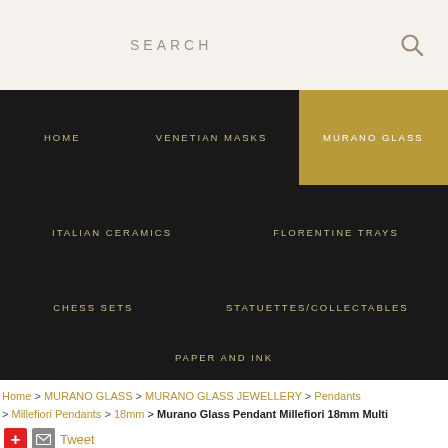SEARCH
HOME | VENETIAN MASKS | MURANO GLASS | ITALIAN CERAMICS | FLORENTINE TRAYS | CHESS SETS | STATUETTES/COLLECTABLES | PAPER AND INK
Home > MURANO GLASS > MURANO GLASS JEWELLERY > Pendants > Millefiori Pendants > 18mm > Murano Glass Pendant Millefiori 18mm Multi
Tweet